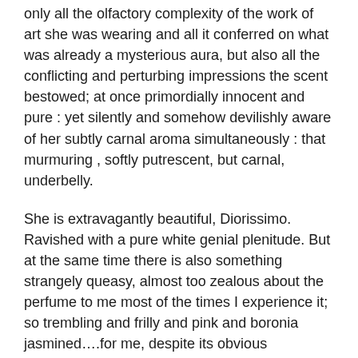only all the olfactory complexity of the work of art she was wearing and all it conferred on what was already a mysterious aura, but also all the conflicting and perturbing impressions the scent bestowed; at once primordially innocent and pure : yet silently and somehow devilishly aware of her subtly carnal aroma simultaneously : that murmuring , softly putrescent, but carnal, underbelly.
She is extravagantly beautiful, Diorissimo. Ravished with a pure white genial plenitude. But at the same time there is also something strangely queasy, almost too zealous about the perfume to me most of the times I experience it; so trembling and frilly and pink and boronia jasmined….for me, despite its obvious magnificence, there is a barely suppressed hysteria at the heart of the perfume that ultimately turns up to eleven, what should have been set at nine.